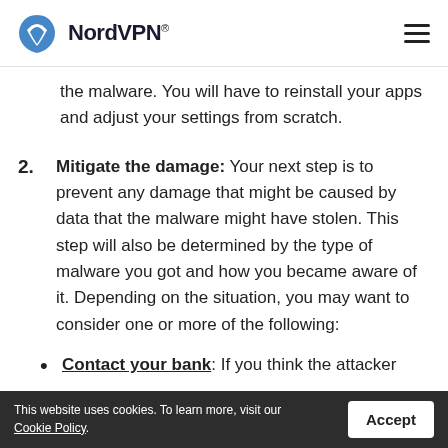NordVPN®
the malware. You will have to reinstall your apps and adjust your settings from scratch.
2. Mitigate the damage: Your next step is to prevent any damage that might be caused by data that the malware might have stolen. This step will also be determined by the type of malware you got and how you became aware of it. Depending on the situation, you may want to consider one or more of the following:
Contact your bank: If you think the attacker
This website uses cookies. To learn more, visit our Cookie Policy.